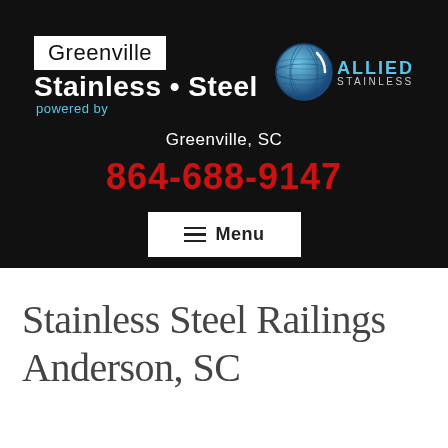[Figure (logo): Greenville Stainless Steel logo powered by Allied Stainless, with globe icon on black background]
Greenville, SC
864-688-9147
≡ Menu
Stainless Steel Railings Anderson, SC